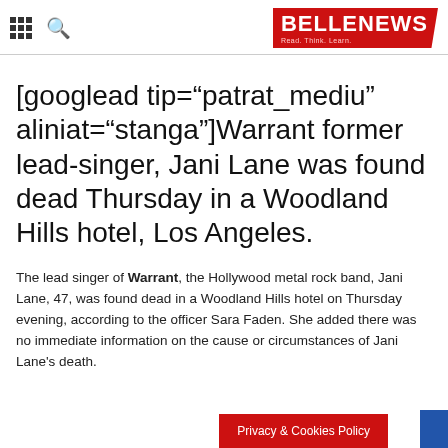BELLENEWS — Read. Think. Learn.
[googlead tip="patrat_mediu" aliniat="stanga"]Warrant former lead-singer, Jani Lane was found dead Thursday in a Woodland Hills hotel, Los Angeles.
The lead singer of Warrant, the Hollywood metal rock band, Jani Lane, 47, was found dead in a Woodland Hills hotel on Thursday evening, according to the officer Sara Faden. She added there was no immediate information on the cause or circumstances of Jani Lane's death.
Privacy & Cookies Policy